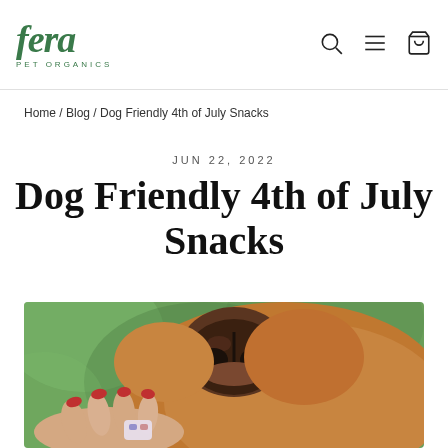fera PET ORGANICS
Home / Blog / Dog Friendly 4th of July Snacks
JUN 22, 2022
Dog Friendly 4th of July Snacks
[Figure (photo): Close-up photo of a dog's nose from below, with a human hand offering a treat. Blurred green background.]